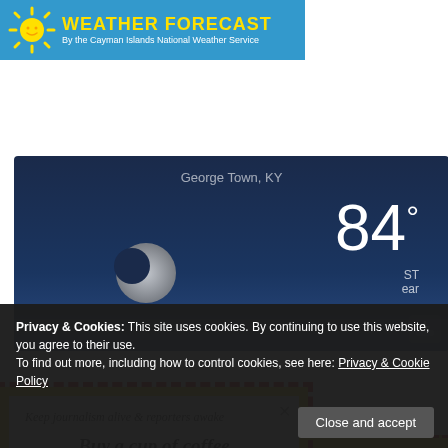[Figure (logo): Weather Forecast banner with sun logo and text 'WEATHER FORECAST By the Cayman Islands National Weather Service' on blue background]
[Figure (screenshot): Weather widget showing George Town, KY with temperature 84 degrees, moon/cloud image, partially cloudy near and dark blue background]
[Figure (infographic): Yellow popup with red dashed border containing coffee cup donation ad: 'Keep journalism alive & reporters awake / Buy a cup of coffee for the CNS team' with coffee cup illustration]
Privacy & Cookies: This site uses cookies. By continuing to use this website, you agree to their use.
To find out more, including how to control cookies, see here: Privacy & Cookie Policy
Close and accept